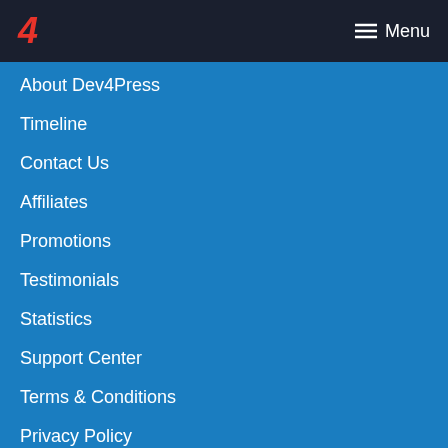4  Menu
About Dev4Press
Timeline
Contact Us
Affiliates
Promotions
Testimonials
Statistics
Support Center
Terms & Conditions
Privacy Policy
From The Blog
Announcements
Plugins